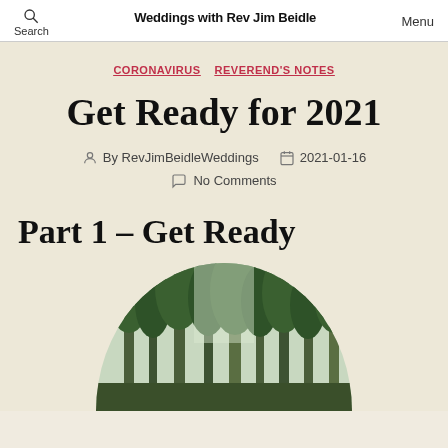Weddings with Rev Jim Beidle — Search | Menu
CORONAVIRUS  REVEREND'S NOTES
Get Ready for 2021
By RevJimBeidleWeddings  2021-01-16  No Comments
Part 1 – Get Ready
[Figure (photo): Circular cropped photo of a forest with tall green trees and misty light filtering through the canopy]